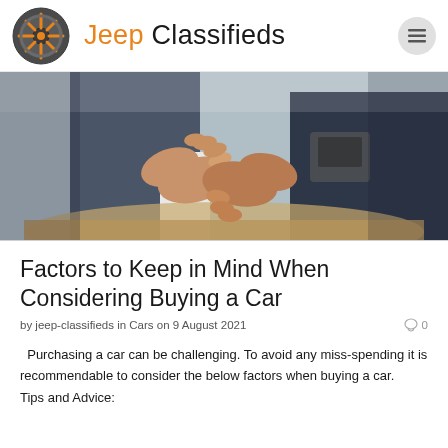Jeep Classifieds
[Figure (photo): Close-up photograph of two people in suits shaking hands over a desk, representing a car purchase agreement]
Factors to Keep in Mind When Considering Buying a Car
by jeep-classifieds in Cars on 9 August 2021   0
Purchasing a car can be challenging. To avoid any miss-spending it is recommendable to consider the below factors when buying a car.    Tips and Advice: